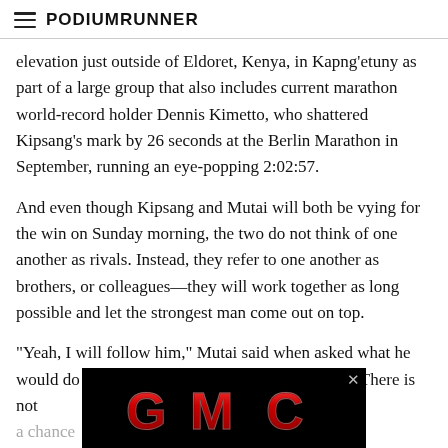PodiumRunner
elevation just outside of Eldoret, Kenya, in Kapng'etuny as part of a large group that also includes current marathon world-record holder Dennis Kimetto, who shattered Kipsang's mark by 26 seconds at the Berlin Marathon in September, running an eye-popping 2:02:57.
And even though Kipsang and Mutai will both be vying for the win on Sunday morning, the two do not think of one another as rivals. Instead, they refer to one another as brothers, or colleagues—they will work together as long possible and let the strongest man come out on top.
“Yeah, I will follow him,” Mutai said when asked what he would do if Kipsang were to make an early move. There is not a chance
[Figure (logo): GMC logo advertisement overlay on black background with close button]